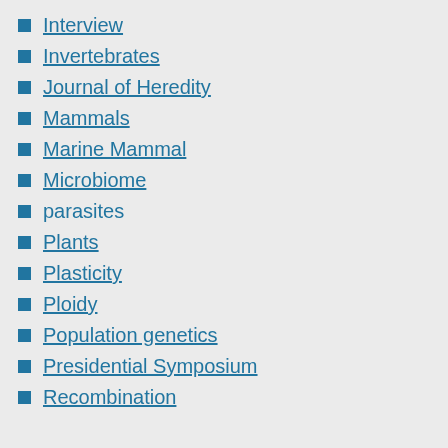Interview
Invertebrates
Journal of Heredity
Mammals
Marine Mammal
Microbiome
parasites
Plants
Plasticity
Ploidy
Population genetics
Presidential Symposium
Recombination